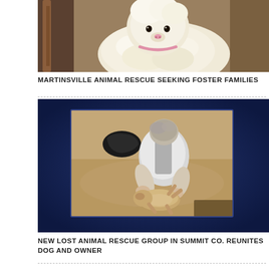[Figure (photo): Close-up photo of a fluffy white/cream dog from above, with a brown leather leash visible on the left side]
MARTINSVILLE ANIMAL RESCUE SEEKING FOSTER FAMILIES
[Figure (photo): Photo of a person with gray hair bending down on sandy ground to pet a small tan dog that is lying on its back, dark navy blue background border around the inset photo]
NEW LOST ANIMAL RESCUE GROUP IN SUMMIT CO. REUNITES DOG AND OWNER